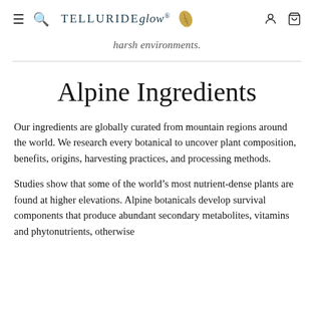TELLURIDE glow® [leaf icon] [user icon] [cart icon]
harsh environments.
Alpine Ingredients
Our ingredients are globally curated from mountain regions around the world. We research every botanical to uncover plant composition, benefits, origins, harvesting practices, and processing methods.
Studies show that some of the world's most nutrient-dense plants are found at higher elevations. Alpine botanicals develop survival components that produce abundant secondary metabolites, vitamins and phytonutrients, otherwise known as adaptogens that help botanicals to survive in more